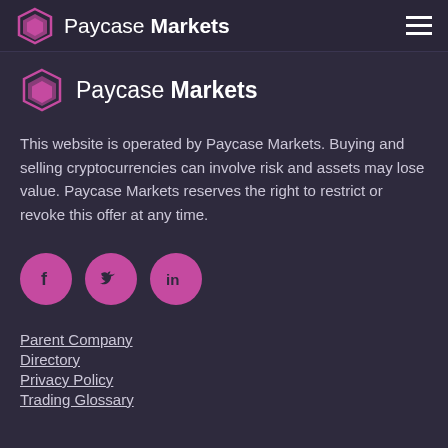Paycase Markets
Paycase Markets
This website is operated by Paycase Markets. Buying and selling cryptocurrencies can involve risk and assets may lose value. Paycase Markets reserves the right to restrict or revoke this offer at any time.
[Figure (illustration): Social media icons: Facebook (f), Twitter (bird), LinkedIn (in) as pink circles]
Parent Company
Directory
Privacy Policy
Trading Glossary